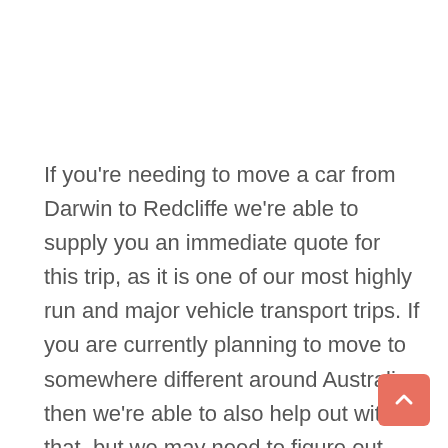If you're needing to move a car from Darwin to Redcliffe we're able to supply you an immediate quote for this trip, as it is one of our most highly run and major vehicle transport trips. If you are currently planning to move to somewhere different around Australia, then we're able to also help out with that, but we may need to figure out those prices if our database does not automatically give them to you.